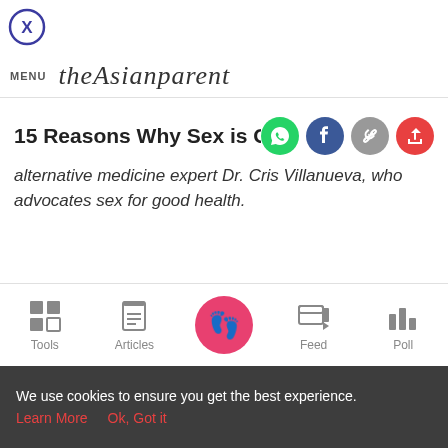[Figure (other): Circle close/X button icon]
MENU theAsianparent
15 Reasons Why Sex is Good for You
alternative medicine expert Dr. Cris Villanueva, who advocates sex for good health.
“Sex heals!” Dr. Cris Villanueva, a leading expert in
Tools  Articles  Feed  Poll
We use cookies to ensure you get the best experience.
Learn More   Ok, Got it